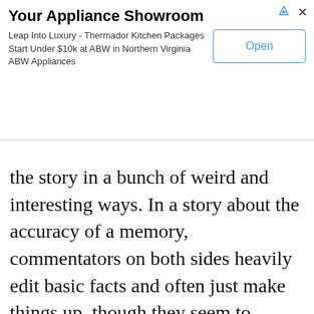[Figure (screenshot): Advertisement banner for 'Your Appliance Showroom' with title, description text about Thermador Kitchen Packages, and an 'Open' button]
the story in a bunch of weird and interesting ways. In a story about the accuracy of a memory, commentators on both sides heavily edit basic facts and often just make things up, though they seem to believe that everything they are saying is true. I didn?t crack the case, but I ran into some fascinating stuff while reading about it for like 60 hours. This is a map of all the shit I perused, from journalistic pieces, to academic literature, to court